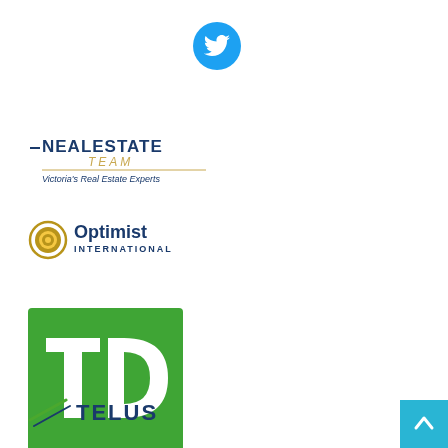[Figure (logo): Twitter bird icon, blue circle with white bird silhouette]
[Figure (logo): Neal Estate Team logo - Victoria's Real Estate Experts, blue text with gold underline]
[Figure (logo): Optimist International logo - circular gold medallion icon with blue Optimist International text]
[Figure (logo): TD Bank green square logo with white TD letters]
[Figure (logo): Telus logo with stylized italic mark and TELUS text in blue and green]
[Figure (other): Teal/cyan scroll-to-top button with white upward arrow, bottom-right corner]